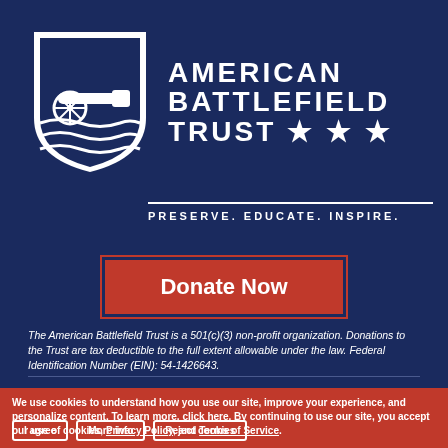[Figure (logo): American Battlefield Trust logo with shield icon and cannon, tagline PRESERVE. EDUCATE. INSPIRE.]
[Figure (other): Donate Now button (red with dark red border)]
The American Battlefield Trust is a 501(c)(3) non-profit organization. Donations to the Trust are tax deductible to the full extent allowable under the law. Federal Identification Number (EIN): 54-1426643.
LEARN. VISIT. PRESERVE. OUR WORK
We use cookies to understand how you use our site, improve your experience, and personalize content. To learn more, click here. By continuing to use our site, you accept our use of cookies, Privacy Policy, and Terms of Service.
I agree   More info   Reject cookies